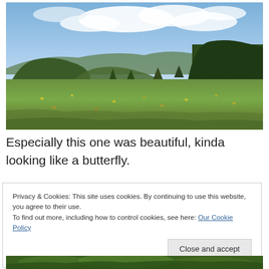[Figure (photo): Wide landscape photo of an open meadow with wildflowers and grasses in the foreground, a line of conifer trees in the middle ground, rolling hills in the background, and a partly cloudy blue sky above.]
Especially this one was beautiful, kinda looking like a butterfly.
Privacy & Cookies: This site uses cookies. By continuing to use this website, you agree to their use.
To find out more, including how to control cookies, see here: Our Cookie Policy
[Figure (photo): Partial view of a close-up nature/plant photo at the bottom of the page, showing green vegetation.]